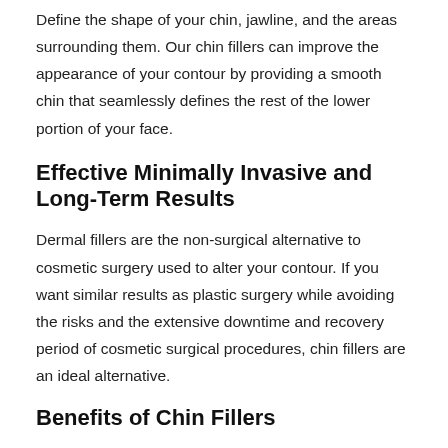Define the shape of your chin, jawline, and the areas surrounding them. Our chin fillers can improve the appearance of your contour by providing a smooth chin that seamlessly defines the rest of the lower portion of your face.
Effective Minimally Invasive and Long-Term Results
Dermal fillers are the non-surgical alternative to cosmetic surgery used to alter your contour. If you want similar results as plastic surgery while avoiding the risks and the extensive downtime and recovery period of cosmetic surgical procedures, chin fillers are an ideal alternative.
Benefits of Chin Fillers
Patients who want to enhance the contour of their lower facial line